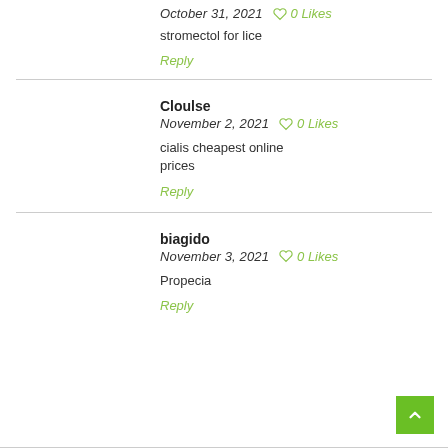October 31, 2021   ♡ 0 Likes
stromectol for lice
Reply
Cloulse
November 2, 2021   ♡ 0 Likes
cialis cheapest online prices
Reply
biagido
November 3, 2021   ♡ 0 Likes
Propecia
Reply